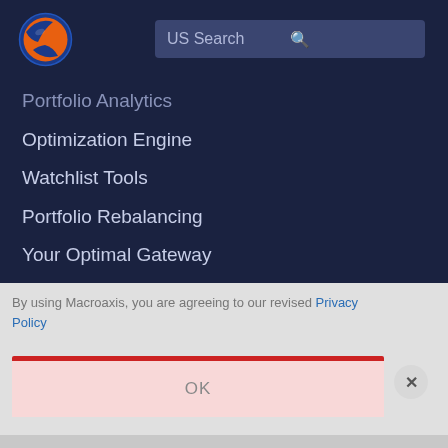[Figure (logo): Macroaxis globe logo — orange and blue circular icon]
US Search
Portfolio Analytics
Optimization Engine
Watchlist Tools
Portfolio Rebalancing
Your Optimal Gateway
Market Snapshot
By using Macroaxis, you are agreeing to our revised Privacy Policy
OK